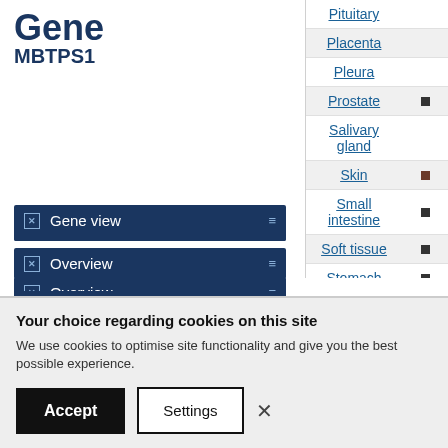Gene MBTPS1
Gene view
Overview
External links
Drug resistance
Tissue distribution
Genome browser
Mutation distribution
| Tissue |  |
| --- | --- |
| Pituitary |  |
| Placenta |  |
| Pleura |  |
| Prostate | ■ |
| Salivary gland |  |
| Skin | ■ |
| Small intestine | ■ |
| Soft tissue | ■ |
| Stomach | ■ |
Your choice regarding cookies on this site
We use cookies to optimise site functionality and give you the best possible experience.